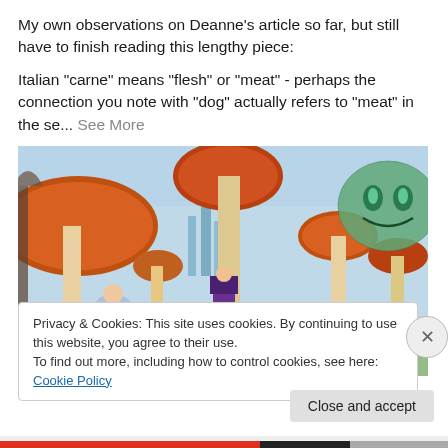My own observations on Deanne's article so far, but still have to finish reading this lengthy piece:
Italian "carne" means "flesh" or "meat" - perhaps the connection you note with "dog" actually refers to "meat" in the se... See More
[Figure (photo): Fantasy scene with large orange mushrooms, characters in costume resembling Alice in Wonderland, with a Cheshire Cat face visible in the upper right corner. Blue-toned sky background.]
Privacy & Cookies: This site uses cookies. By continuing to use this website, you agree to their use.
To find out more, including how to control cookies, see here: Cookie Policy
Close and accept